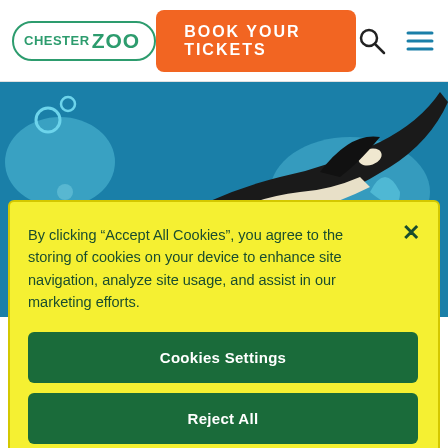[Figure (logo): Chester Zoo logo — oval border with CHESTER ZOO text in green]
[Figure (screenshot): Orange 'BOOK YOUR TICKETS' button in navigation bar]
[Figure (illustration): Illustrated orca/killer whale leaping out of teal blue water with decorative wave shapes and bubbles]
By clicking “Accept All Cookies”, you agree to the storing of cookies on your device to enhance site navigation, analyze site usage, and assist in our marketing efforts.
Cookies Settings
Reject All
Accept All Cookies